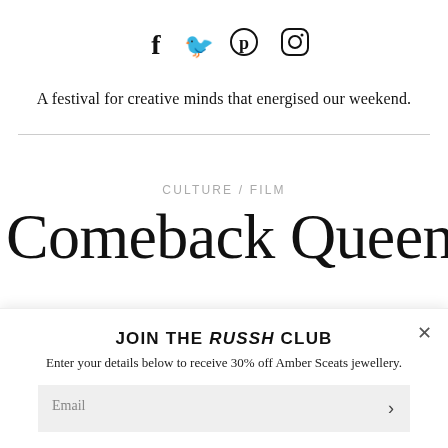[Figure (other): Social media icons: Facebook (f), Twitter (bird), Pinterest (circle P), Instagram (circle camera)]
A festival for creative minds that energised our weekend.
CULTURE / FILM
Comeback Queen
JOIN THE RUSSH CLUB
Enter your details below to receive 30% off Amber Sceats jewellery.
Email